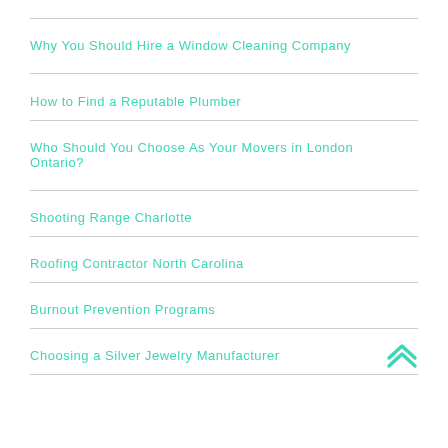Why You Should Hire a Window Cleaning Company
How to Find a Reputable Plumber
Who Should You Choose As Your Movers in London Ontario?
Shooting Range Charlotte
Roofing Contractor North Carolina
Burnout Prevention Programs
Choosing a Silver Jewelry Manufacturer